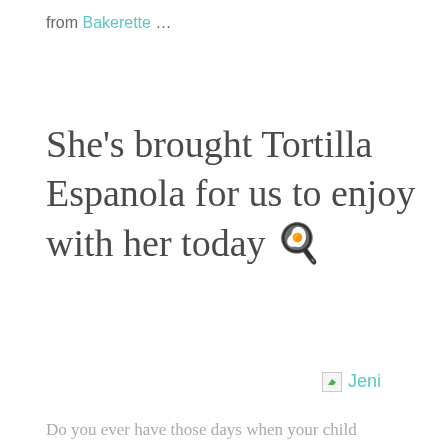from Bakerette …
She's brought Tortilla Espanola for us to enjoy with her today 🍳
[Figure (other): Broken image placeholder with label 'Jeni']
Do you ever have those days when your child